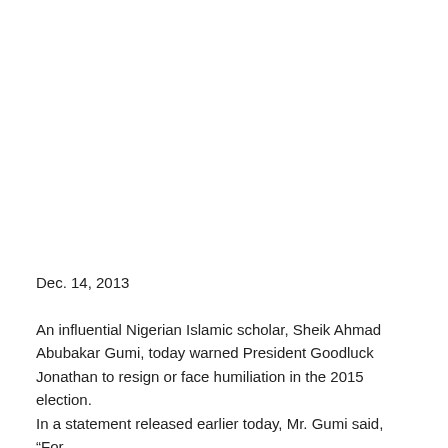Dec. 14, 2013
An influential Nigerian Islamic scholar, Sheik Ahmad Abubakar Gumi, today warned President Goodluck Jonathan to resign or face humiliation in the 2015 election.
In a statement released earlier today, Mr. Gumi said, “For